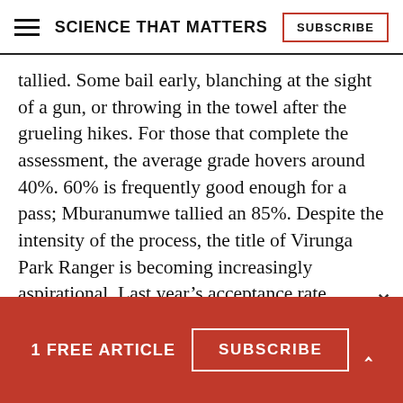SCIENCE THAT MATTERS
tallied. Some bail early, blanching at the sight of a gun, or throwing in the towel after the grueling hikes. For those that complete the assessment, the average grade hovers around 40%. 60% is frequently good enough for a pass; Mburanumwe tallied an 85%. Despite the intensity of the process, the title of Virunga Park Ranger is becoming increasingly aspirational. Last year’s acceptance rate
1 FREE ARTICLE  SUBSCRIBE